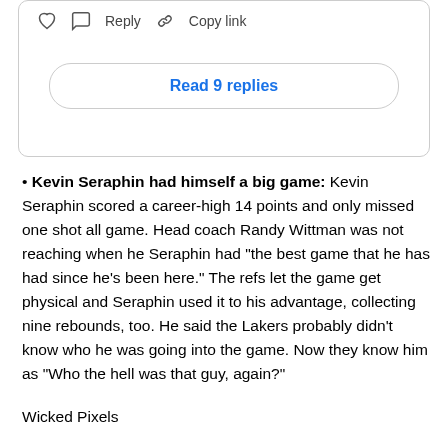[Figure (screenshot): Social media post interaction bar with heart icon, reply icon with 'Reply' label, and link icon with 'Copy link' label, followed by a 'Read 9 replies' button in a rounded rectangle]
Kevin Seraphin had himself a big game: Kevin Seraphin scored a career-high 14 points and only missed one shot all game. Head coach Randy Wittman was not reaching when he Seraphin had "the best game that he has had since he's been here." The refs let the game get physical and Seraphin used it to his advantage, collecting nine rebounds, too. He said the Lakers probably didn't know who he was going into the game. Now they know him as "Who the hell was that guy, again?"
Wicked Pixels